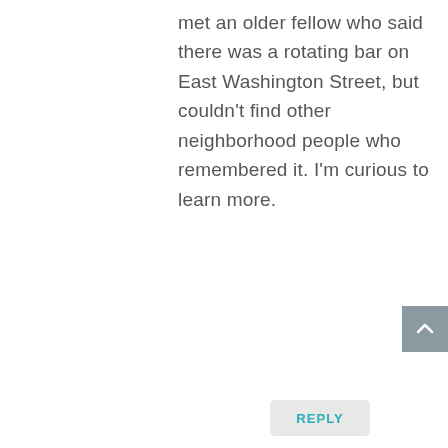met an older fellow who said there was a rotating bar on East Washington Street, but couldn't find other neighborhood people who remembered it. I'm curious to learn more.
REPLY